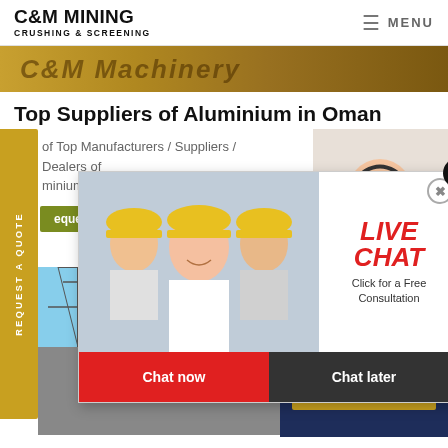C&M MINING CRUSHING & SCREENING — MENU
[Figure (photo): C&M Machinery banner image with golden/brown background]
Top Suppliers of Aluminium in Oman
of Top Manufacturers / Suppliers / Dealers of Aluminium
[Figure (photo): Live Chat popup with workers in hard hats and customer service agent. Contains LIVE CHAT heading, 'Click for a Free Consultation', Chat now and Chat later buttons.]
[Figure (photo): Industrial machinery photo showing conveyor belts and industrial equipment against a blue sky with power tower]
[Figure (infographic): Have any requests, click here. Quotation button on dark blue background]